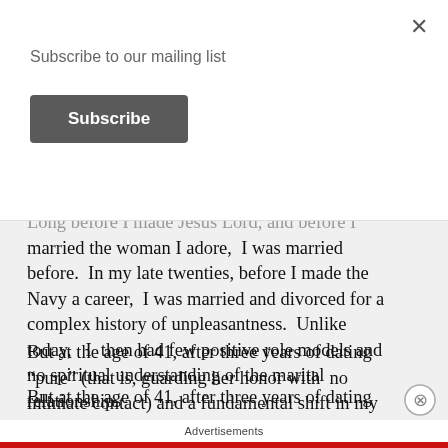Subscribe to our mailing list
Subscribe
Long before I made Jesus Lord, and before I married the woman I adore,  I was married before.  In my late twenties, before I made the Navy a career,  I was married and divorced for a complex history of unpleasantness.  Unlike today,   I  then had few positive role models and no spiritual understanding of the marital relationship.
But at the age of 41, after three years of dating “pure” (that is, guarding her honor with  no intimate contact) and a fundamental shift in my character,  I married the love of my life.  It
Advertisements